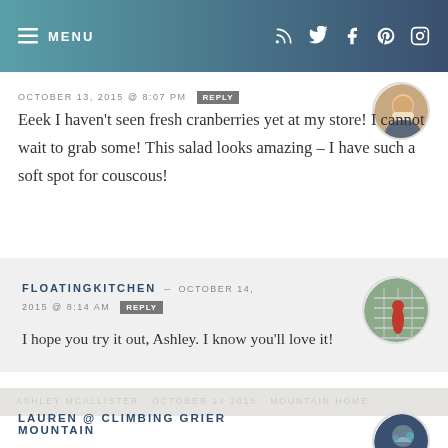MENU
OCTOBER 13, 2015 @ 8:07 PM  REPLY
Eeek I haven't seen fresh cranberries yet at my store! I cannot wait to grab some! This salad looks amazing – I have such a soft spot for couscous!
FLOATINGKITCHEN — OCTOBER 14, 2015 @ 8:14 AM  REPLY
I hope you try it out, Ashley. I know you'll love it!
LAUREN @ CLIMBING GRIER MOUNTAIN — OCTOBER 14, 2015 @ 4:48 AM